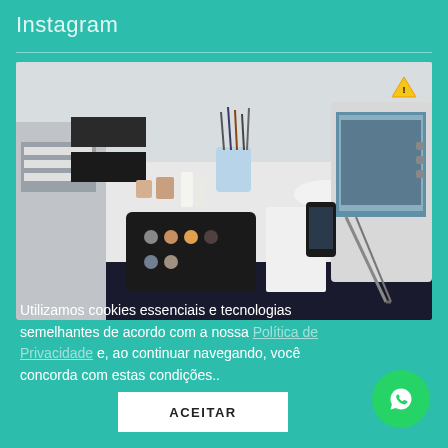Instagram
[Figure (photo): A cluttered desk/workstation with art supplies, brushes in a cup, paint palette, small containers, a dark tray with tools, tweezers, a smartphone, and a computer monitor or medical device screen on the right side.]
Utilizamos cookies essenciais e tecnologias semelhantes de acordo com a nossa Política de Privacidade e, ao continuar navegando, você concorda com estas condições..
ACEITAR